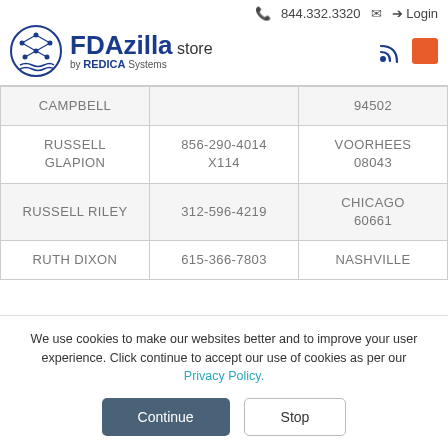[Figure (logo): FDAzilla store by REDICA Systems logo with circular icon, phone number 844.332.3320, mail icon, and Login link]
| Name | Phone | City/Zip |
| --- | --- | --- |
| CAMPBELL |  | 94502 |
| RUSSELL GLAPION | 856-290-4014 X114 | VOORHEES 08043 |
| RUSSELL RILEY | 312-596-4219 | CHICAGO 60661 |
| RUTH DIXON | 615-366-7803 | NASHVILLE |
We use cookies to make our websites better and to improve your user experience. Click continue to accept our use of cookies as per our Privacy Policy.